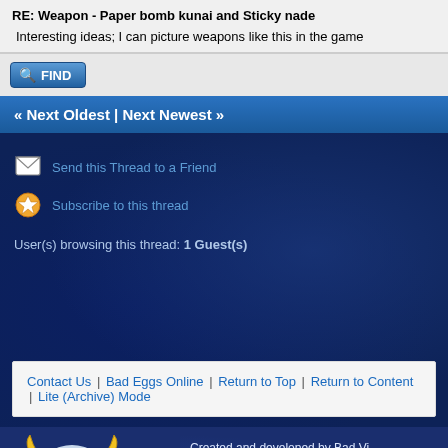RE: Weapon - Paper bomb kunai and Sticky nade
Interesting ideas; I can picture weapons like this in the game
FIND
« Next Oldest | Next Newest »
Send this Thread to a Friend
Subscribe to this thread
User(s) browsing this thread: 1 Guest(s)
Contact Us | Bad Eggs Online | Return to Top | Return to Content | Lite (Archive) Mode
[Figure (logo): Bad Viking logo with horned helmet and 'BAD VIKING' text]
Created and developed by Bad Vi... Bad Viking is indie game develope... Bad Eggs Online, copyright © Ba... Terms and Conditions / Privacy P...